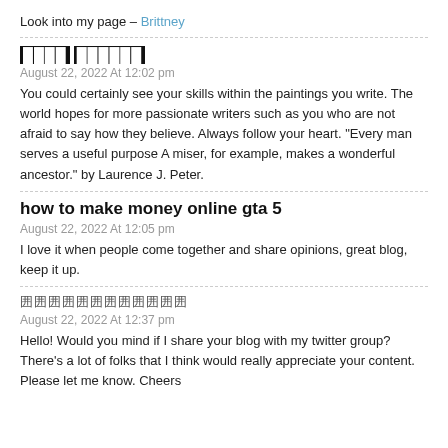Look into my page – Brittney
████ ██████
August 22, 2022 At 12:02 pm
You could certainly see your skills within the paintings you write. The world hopes for more passionate writers such as you who are not afraid to say how they believe. Always follow your heart. "Every man serves a useful purpose A miser, for example, makes a wonderful ancestor." by Laurence J. Peter.
how to make money online gta 5
August 22, 2022 At 12:05 pm
I love it when people come together and share opinions, great blog, keep it up.
囲囲囲囲囲囲囲囲囲囲囲囲
August 22, 2022 At 12:37 pm
Hello! Would you mind if I share your blog with my twitter group? There's a lot of folks that I think would really appreciate your content. Please let me know. Cheers